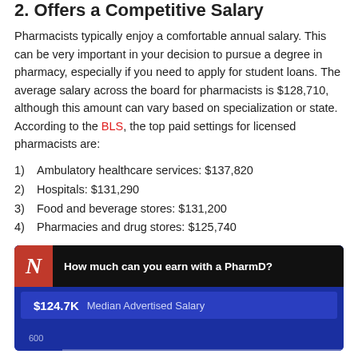2. Offers a Competitive Salary
Pharmacists typically enjoy a comfortable annual salary. This can be very important in your decision to pursue a degree in pharmacy, especially if you need to apply for student loans. The average salary across the board for pharmacists is $128,710, although this amount can vary based on specialization or state. According to the BLS, the top paid settings for licensed pharmacists are:
1)  Ambulatory healthcare services: $137,820
2)  Hospitals: $131,290
3)  Food and beverage stores: $131,200
4)  Pharmacies and drug stores: $125,740
[Figure (infographic): Infographic with dark blue background showing 'How much can you earn with a PharmD?' with a red N logo, a black bar with the question text, a blue bar showing '$124.7K Median Advertised Salary', and the beginning of a bar chart with '600' label visible at bottom left.]